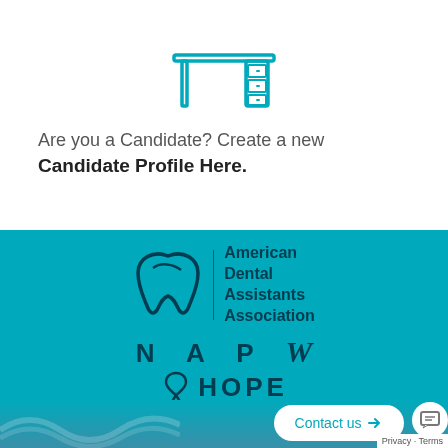[Figure (illustration): Teal/cyan line-art icon of a desk with drawers]
Are you a Candidate? Create a new
Candidate Profile Here.
[Figure (logo): American Dental Assistants Association logo with tooth icon and vertical divider, followed by NAPW Hope ribbon logo, all on teal background]
Contact us